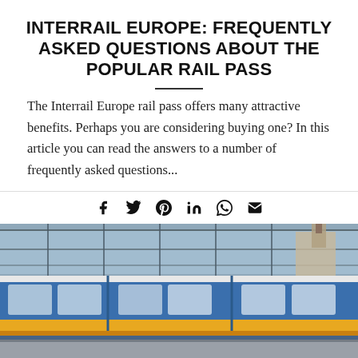INTERRAIL EUROPE: FREQUENTLY ASKED QUESTIONS ABOUT THE POPULAR RAIL PASS
The Interrail Europe rail pass offers many attractive benefits. Perhaps you are considering buying one? In this article you can read the answers to a number of frequently asked questions...
[Figure (photo): A blue and yellow European passenger train at a station platform, with a glass canopy roof visible overhead and a building with a tower in the background.]